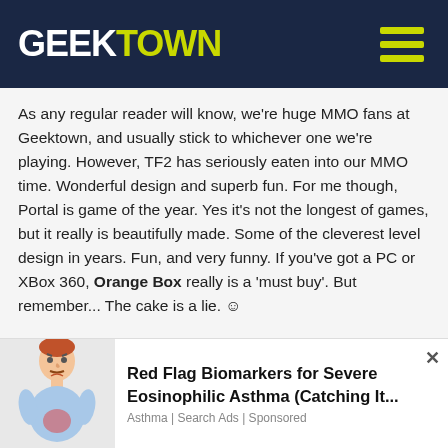GEEKTOWN
As any regular reader will know, we're huge MMO fans at Geektown, and usually stick to whichever one we're playing. However, TF2 has seriously eaten into our MMO time. Wonderful design and superb fun. For me though, Portal is game of the year. Yes it's not the longest of games, but it really is beautifully made. Some of the cleverest level design in years. Fun, and very funny. If you've got a PC or XBox 360, Orange Box really is a 'must buy'. But remember... The cake is a lie. ☺
Best Moment: Oh, there are just sooo many:
The first time the penny drops on what your supposed to do on a portal level.
The ending title song of Portal.
Flaming 5 unsuspecting Snipers in one go as a Pyro.
[Figure (illustration): Advertisement illustration of a sick person with stomach pain]
Red Flag Biomarkers for Severe Eosinophilic Asthma (Catching It...
Asthma | Search Ads | Sponsored